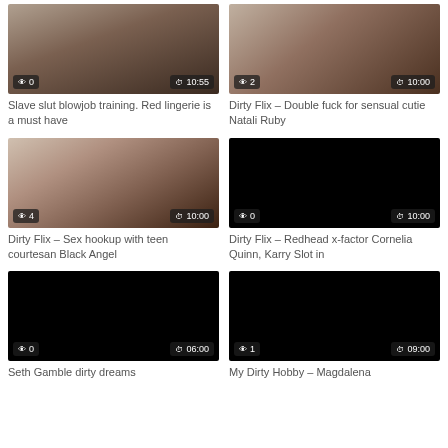[Figure (screenshot): Video thumbnail - Slave slut blowjob training. Red lingerie is a must have. Views: 0, Duration: 10:55]
Slave slut blowjob training. Red lingerie is a must have
[Figure (screenshot): Video thumbnail - Dirty Flix - Double fuck for sensual cutie Natali Ruby. Views: 2, Duration: 10:00]
Dirty Flix – Double fuck for sensual cutie Natali Ruby
[Figure (screenshot): Video thumbnail - Dirty Flix - Sex hookup with teen courtesan Black Angel. Views: 4, Duration: 10:00]
Dirty Flix – Sex hookup with teen courtesan Black Angel
[Figure (screenshot): Video thumbnail - Dirty Flix - Redhead x-factor Cornelia Quinn, Karry Slot in. Views: 0, Duration: 10:00]
Dirty Flix – Redhead x-factor Cornelia Quinn, Karry Slot in
[Figure (screenshot): Video thumbnail - Seth Gamble dirty dreams. Views: 0, Duration: 06:00]
Seth Gamble dirty dreams
[Figure (screenshot): Video thumbnail - My Dirty Hobby - Magdalena. Views: 1, Duration: 09:00]
My Dirty Hobby – Magdalena